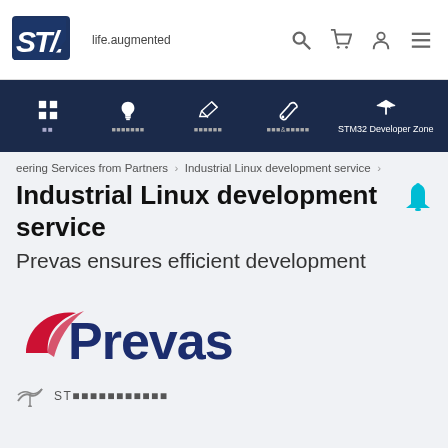[Figure (logo): ST Microelectronics logo with 'life.augmented' tagline and navigation icons (search, cart, user, menu)]
STM32 Developer Zone navigation bar with icons for products, design, tools & software, STM32 Developer Zone
eering Services from Partners > Industrial Linux development service >
Industrial Linux development service
Prevas ensures efficient development
[Figure (logo): Prevas company logo — red swoosh with dark blue bold text 'Prevas']
ST■■■■■■■■■■■